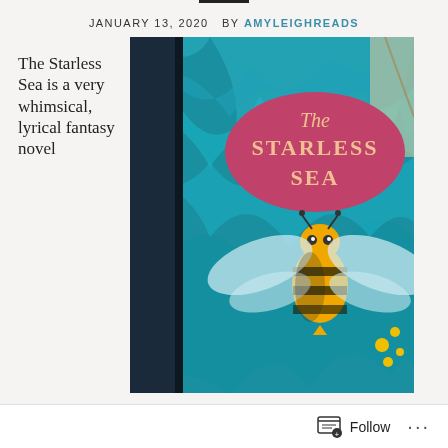JANUARY 13, 2020   BY AMYLEIGHREADS
The Starless Sea is a very whimsical, lyrical fantasy novel
[Figure (photo): Book cover of 'The Starless Sea' showing a large golden bee on a teal marbled background with a pink oval containing the title text in gold lettering]
Follow